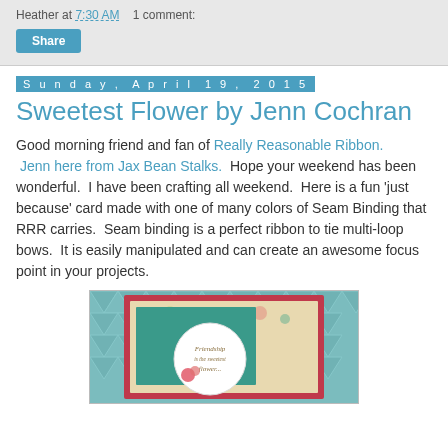Heather at 7:30 AM   1 comment:
Share
Sunday, April 19, 2015
Sweetest Flower by Jenn Cochran
Good morning friend and fan of Really Reasonable Ribbon.  Jenn here from Jax Bean Stalks.  Hope your weekend has been wonderful.  I have been crafting all weekend.  Here is a fun 'just because' card made with one of many colors of Seam Binding that RRR carries.  Seam binding is a perfect ribbon to tie multi-loop bows.  It is easily manipulated and can create an awesome focus point in your projects.
[Figure (photo): Handmade friendship card with floral patterned paper, teal mat, red border, and a circular sentiment label reading 'Friendship is the sweetest flower...' with a ribbon bow, on a teal geometric background.]